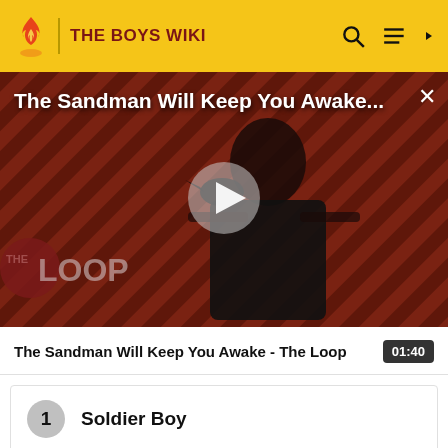THE BOYS WIKI
[Figure (screenshot): Video thumbnail for 'The Sandman Will Keep You Awake - The Loop' showing a dark figure in black cloak against a red diagonal-striped background with The Loop logo. A play button is overlaid in the center.]
The Sandman Will Keep You Awake - The Loop
01:40
1  Soldier Boy